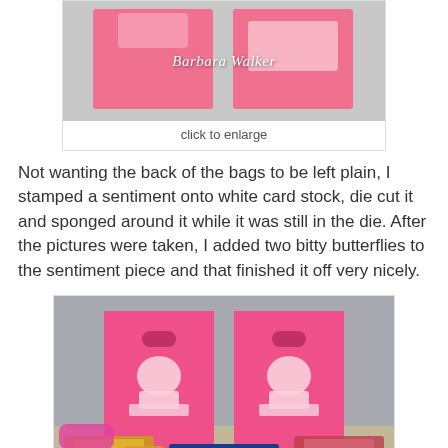[Figure (photo): Pink gift bags with stamped designs on white card stock, showing the back of the bags with a sentiment piece, on a neutral background. Watermark reads Barbara Walker.]
click to enlarge
Not wanting the back of the bags to be left plain, I stamped a sentiment onto white card stock, die cut it and sponged around it while it was still in the die. After the pictures were taken, I added two bitty butterflies to the sentiment piece and that finished it off very nicely.
[Figure (photo): Two pink gift bags with hope ribbon designs and text, with Ghirardelli chocolate squares in the foreground.]